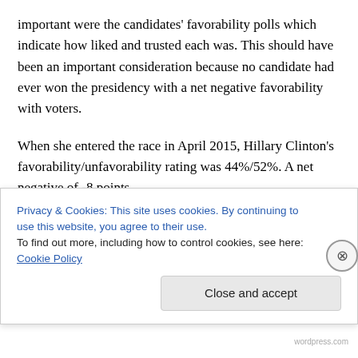important were the candidates' favorability polls which indicate how liked and trusted each was. This should have been an important consideration because no candidate had ever won the presidency with a net negative favorability with voters.
When she entered the race in April 2015, Hillary Clinton's favorability/unfavorability rating was 44%/52%. A net negative of -8 points.
When he entered the race in April 2015, Sanders's favorability/unfavorability was 29%/37%. Lower scores in
Privacy & Cookies: This site uses cookies. By continuing to use this website, you agree to their use.
To find out more, including how to control cookies, see here: Cookie Policy